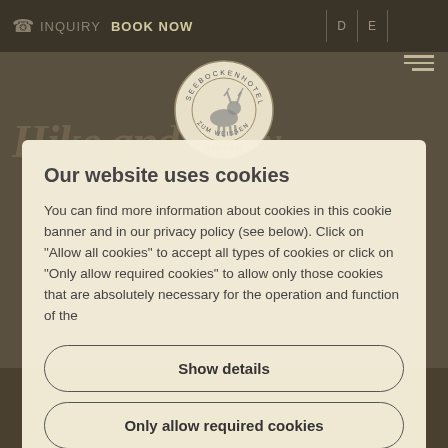INQUIRY  BOOK NOW  D  E
[Figure (logo): Seebockenhotel zum Weissen Hirsch circular logo with deer silhouette]
Our website uses cookies
You can find more information about cookies in this cookie banner and in our privacy policy (see below). Click on "Allow all cookies" to accept all types of cookies or click on "Only allow required cookies" to allow only those cookies that are absolutely necessary for the operation and function of the
Show details
Only allow required cookies
Accept all cookies (incl. from US providers)